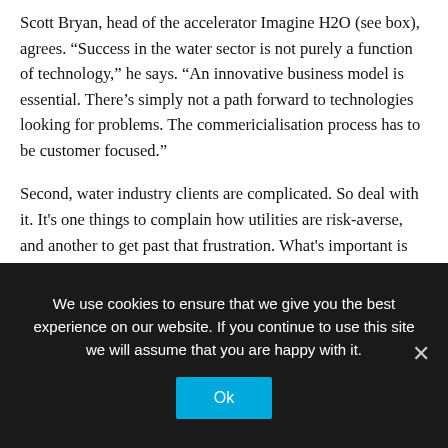Scott Bryan, head of the accelerator Imagine H2O (see box), agrees. “Success in the water sector is not purely a function of technology,” he says. “An innovative business model is essential. There’s simply not a path forward to technologies looking for problems. The commericialisation process has to be customer focused.”
Second, water industry clients are complicated. So deal with it. It's one things to complain how utilities are risk-averse, and another to get past that frustration. What's important is understanding why they are what they are, putting real and perceived risk into the appropriate context: will customers get
We use cookies to ensure that we give you the best experience on our website. If you continue to use this site we will assume that you are happy with it.